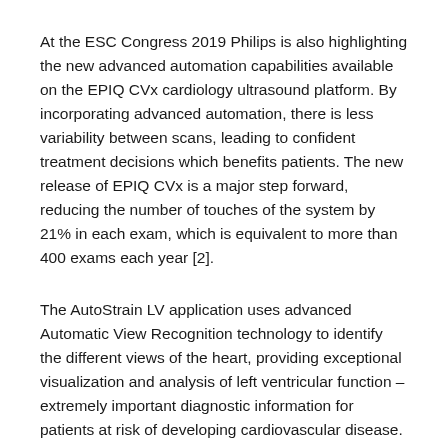At the ESC Congress 2019 Philips is also highlighting the new advanced automation capabilities available on the EPIQ CVx cardiology ultrasound platform. By incorporating advanced automation, there is less variability between scans, leading to confident treatment decisions which benefits patients. The new release of EPIQ CVx is a major step forward, reducing the number of touches of the system by 21% in each exam, which is equivalent to more than 400 exams each year [2].
The AutoStrain LV application uses advanced Automatic View Recognition technology to identify the different views of the heart, providing exceptional visualization and analysis of left ventricular function – extremely important diagnostic information for patients at risk of developing cardiovascular disease. Also new are the AutoStrain LA and AutoStrain RV applications, which automate the measurement of left atrial